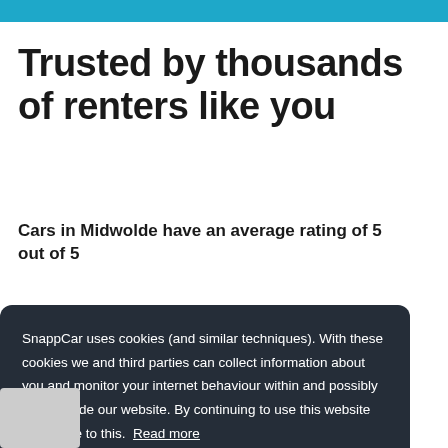Trusted by thousands of renters like you
Cars in Midwolde have an average rating of 5 out of 5
SnappCar uses cookies (and similar techniques). With these cookies we and third parties can collect information about you and monitor your internet behaviour within and possibly also outside our website. By continuing to use this website you agree to this. Read more
Clear!